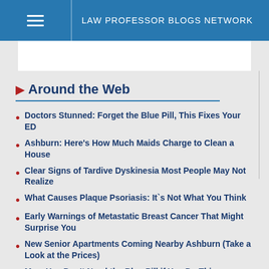LAW PROFESSOR BLOGS NETWORK
Around the Web
Doctors Stunned: Forget the Blue Pill, This Fixes Your ED
Ashburn: Here's How Much Maids Charge to Clean a House
Clear Signs of Tardive Dyskinesia Most People May Not Realize
What Causes Plaque Psoriasis: It`s Not What You Think
Early Warnings of Metastatic Breast Cancer That Might Surprise You
New Senior Apartments Coming Nearby Ashburn (Take a Look at the Prices)
Men, You Don't Need the Blue Pill if You Do This